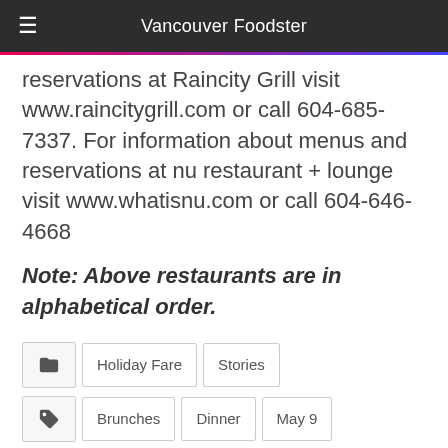Vancouver Foodster
reservations at Raincity Grill visit www.raincitygrill.com or call 604-685-7337. For information about menus and reservations at nu restaurant + lounge visit www.whatisnu.com or call 604-646-4668
Note: Above restaurants are in alphabetical order.
Holiday Fare, Stories
Brunches, Dinner, May 9, Mom, Mothers Day